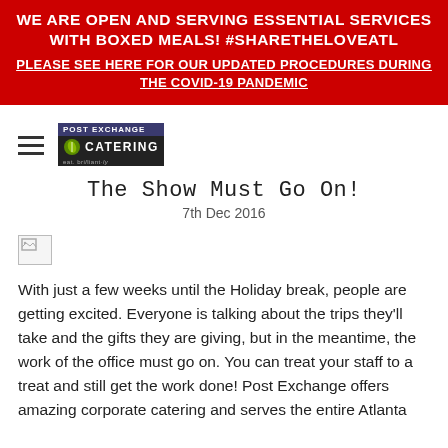WE ARE OPEN AND SERVING ESSENTIAL SERVICES WITH BOXED MEALS! #SHARETHELOVEATL
PLEASE SEE HERE FOR OUR UPDATED PROCEDURES DURING THE COVID-19 PANDEMIC
[Figure (logo): Post Exchange Catering logo with hamburger menu icon]
The Show Must Go On!
7th Dec 2016
[Figure (photo): Broken/unloaded image placeholder]
With just a few weeks until the Holiday break, people are getting excited. Everyone is talking about the trips they'll take and the gifts they are giving, but in the meantime, the work of the office must go on. You can treat your staff to a treat and still get the work done! Post Exchange offers amazing corporate catering and serves the entire Atlanta